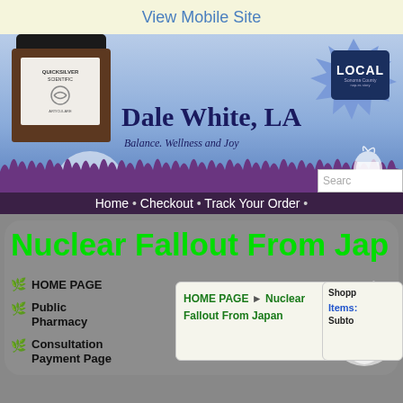View Mobile Site
[Figure (screenshot): Website header with product bottle image on left, LOCAL Sonoma County badge, and site title 'Dale White, LA' with tagline 'Balance. Wellness and Joy']
Home • Checkout • Track Your Order •
Nuclear Fallout From Jap
HOME PAGE
Public Pharmacy
Consultation Payment Page
HOME PAGE ► Nuclear Fallout From Japan
Shopp Items: Subto